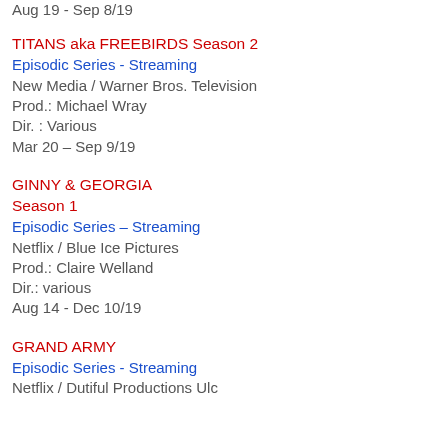Aug 19 - Sep 8/19
TITANS aka FREEBIRDS Season 2
Episodic Series - Streaming
New Media / Warner Bros. Television
Prod.: Michael Wray
Dir. : Various
Mar 20 – Sep 9/19
GINNY & GEORGIA
Season 1
Episodic Series – Streaming
Netflix / Blue Ice Pictures
Prod.: Claire Welland
Dir.: various
Aug 14 - Dec 10/19
GRAND ARMY
Episodic Series - Streaming
Netflix / Dutiful Productions Ulc